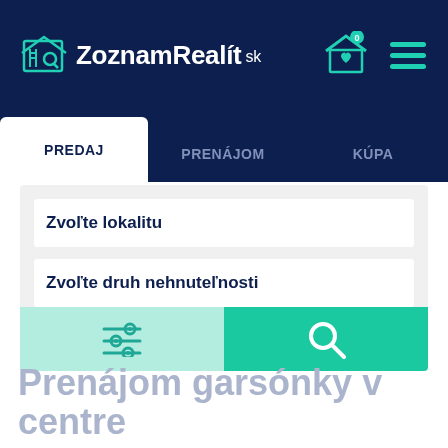ZoznamRealít sk
PREDAJ | PRENÁJOM | KÚPA
Zvoľte lokalitu
Zvoľte druh nehnuteľnosti
Prenájom garsónky v centre